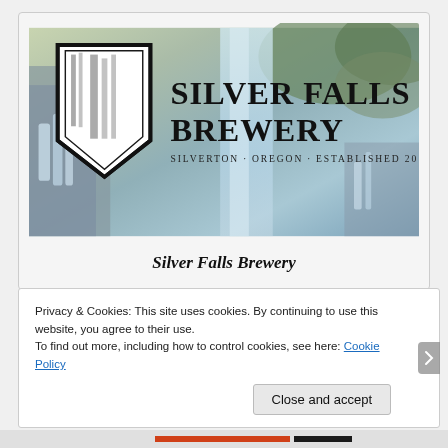[Figure (logo): Silver Falls Brewery logo and banner image showing a waterfall scene with the brewery shield logo and text 'Silver Falls Brewery, Silverton, Oregon, Established 2015']
Silver Falls Brewery
Privacy & Cookies: This site uses cookies. By continuing to use this website, you agree to their use.
To find out more, including how to control cookies, see here: Cookie Policy
Close and accept